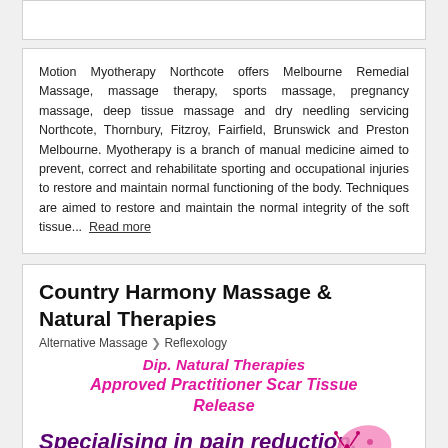Motion Myotherapy Northcote offers Melbourne Remedial Massage, massage therapy, sports massage, pregnancy massage, deep tissue massage and dry needling servicing Northcote, Thornbury, Fitzroy, Fairfield, Brunswick and Preston Melbourne. Myotherapy is a branch of manual medicine aimed to prevent, correct and rehabilitate sporting and occupational injuries to restore and maintain normal functioning of the body. Techniques are aimed to restore and maintain the normal integrity of the soft tissue... Read more
Country Harmony Massage & Natural Therapies
Alternative Massage > Reflexology
Dip. Natural Therapies
Approved Practitioner Scar Tissue Release
Specialising in pain reduction. 28 years certified industry experience